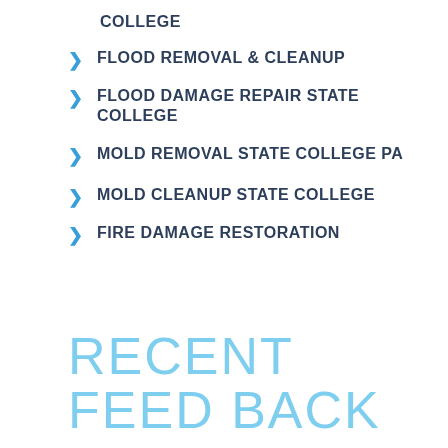COLLEGE
FLOOD REMOVAL & CLEANUP
FLOOD DAMAGE REPAIR STATE COLLEGE
MOLD REMOVAL STATE COLLEGE PA
MOLD CLEANUP STATE COLLEGE
FIRE DAMAGE RESTORATION
RECENT FEED BACK